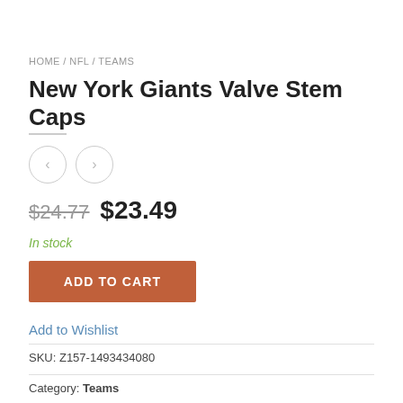HOME / NFL / TEAMS
New York Giants Valve Stem Caps
$24.77  $23.49
In stock
ADD TO CART
Add to Wishlist
SKU: Z157-1493434080
Category: Teams